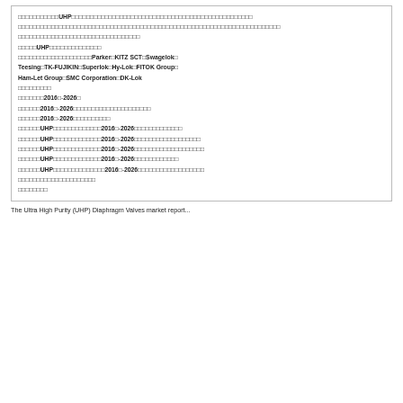Mixed content block with UHP references, company names (Parker, KITZ SCT, Swagelok, Teesing, TK-FUJIKIN, Superlok, Hy-Lok, FITOK Group, Ham-Let Group, SMC Corporation, DK-Lok), year ranges 2016-2026, and various CJK/redacted text segments.
The Ultra High Purity (UHP) Diaphragm Valves market report...